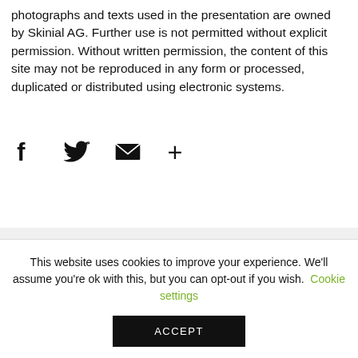photographs and texts used in the presentation are owned by Skinial AG. Further use is not permitted without explicit permission. Without written permission, the content of this site may not be reproduced in any form or processed, duplicated or distributed using electronic systems.
[Figure (infographic): Social sharing icons: Facebook (f), Twitter (bird), Email (envelope), More (+)]
SEARCH
This website uses cookies to improve your experience. We'll assume you're ok with this, but you can opt-out if you wish. Cookie settings
ACCEPT